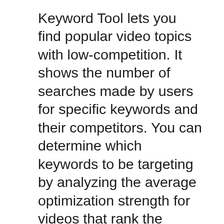Keyword Tool lets you find popular video topics with low-competition. It shows the number of searches made by users for specific keywords and their competitors. You can determine which keywords to be targeting by analyzing the average optimization strength for videos that rank the highest. The most appropriate keyword can improve the visibility of your YouTube video within a niche market.
Another benefit of TubeBuddy is the ability to create thumbnails for all of your uploaded videos. Thumbnails are a crucial part of YouTube SEO and TubeBuddy recommends using Photoshop to create thumbnails. Another great feature is its comment filter tool. TubeBuddy looks for comments related